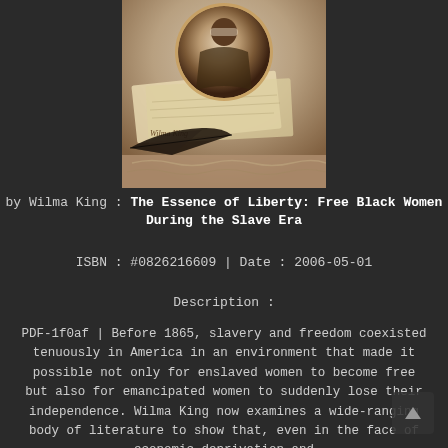[Figure (photo): Book cover of 'The Essence of Liberty: Free Black Women During the Slave Era' by Wilma King, featuring an oval portrait of a woman, a handwritten letter, a quill pen, and decorative elements.]
by Wilma King : The Essence of Liberty: Free Black Women During the Slave Era
ISBN : #0826216609 | Date : 2006-05-01
Description :
PDF-1f0af | Before 1865, slavery and freedom coexisted tenuously in America in an environment that made it possible not only for enslaved women to become free but also for emancipated women to suddenly lose their independence. Wilma King now examines a wide-ranging body of literature to show that, even in the face of economic deprivation and